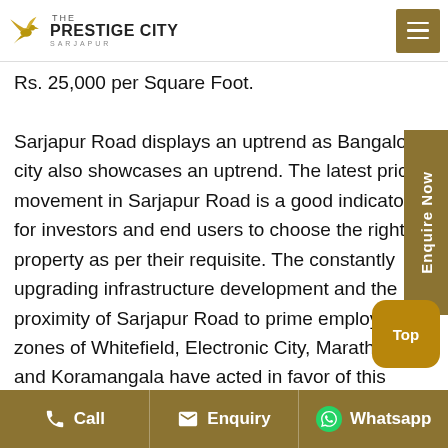THE PRESTIGE CITY SARJAPUR
Rs. 25,000 per Square Foot. Sarjapur Road displays an uptrend as Bangalore city also showcases an uptrend. The latest price movement in Sarjapur Road is a good indicator for investors and end users to choose the right property as per their requisite. The constantly upgrading infrastructure development and the proximity of Sarjapur Road to prime employment zones of Whitefield, Electronic City, Marathalli, and Koramangala have acted in favor of this region with good demand for residential abodes in affordable, mid and luxury sections. The upcoming Metro rail connectivity
Call  Enquiry  Whatsapp